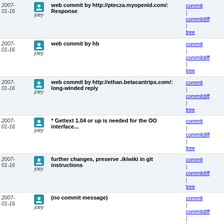| Date | User | Message | Links |
| --- | --- | --- | --- |
| 2007-01-16 | joey | web commit by http://ptecza.myopenid.com/: Response | commit | commitdiff | tree |
| 2007-01-16 | joey | web commit by hb | commit | commitdiff | tree |
| 2007-01-16 | joey | web commit by http://ethan.betacantrips.com/: long-winded reply | commit | commitdiff | tree |
| 2007-01-16 | joey | * Gettext 1.04 or up is needed for the OO interface... | commit | commitdiff | tree |
| 2007-01-16 | joey | further changes, preserve .ikiwiki in git instructions | commit | commitdiff | tree |
| 2007-01-16 | joey | (no commit message) | commit | commitdiff | tree |
| 2007-01-16 | joey | response, and change setup instuctions for svn. The... | commit | commitdiff | tree |
| 2007-01-16 | joey | rename and comments | commit | commitdiff | tree |
| 2007-01-16 | joey | web commit by http://ethan.betacantrips.com/: turns... | commit | commitdiff | tree |
| 2007-01-15 | joey | web commit by http://ethan.betacantrips.com/: more thoughts | commit | commitdiff | tree |
| 2007-01-15 | joey | response | commit | commitdiff | tree |
| 2007-01-15 | joey | response | commit | commitdiff | tree |
| 2007-01-15 | joey | web commit by... | commit | |